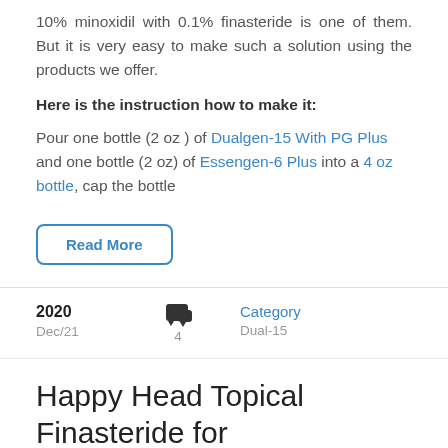10% minoxidil with 0.1% finasteride is one of them. But it is very easy to make such a solution using the products we offer.
Here is the instruction how to make it:
Pour one bottle (2 oz ) of Dualgen-15 With PG Plus and one bottle (2 oz) of Essengen-6 Plus into a 4 oz bottle, cap the bottle
Read More
2020 Dec/21  [comment icon] 4  Category Dual-15
Happy Head Topical Finasteride for Hair Loss Review: